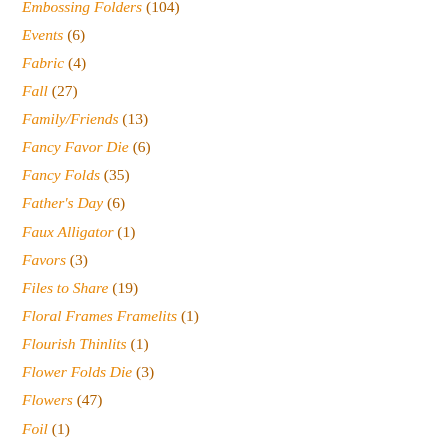Embossing Folders (104)
Events (6)
Fabric (4)
Fall (27)
Family/Friends (13)
Fancy Favor Die (6)
Fancy Folds (35)
Father's Day (6)
Faux Alligator (1)
Favors (3)
Files to Share (19)
Floral Frames Framelits (1)
Flourish Thinlits (1)
Flower Folds Die (3)
Flowers (47)
Foil (1)
Framed Art (4)
Framelits (36)